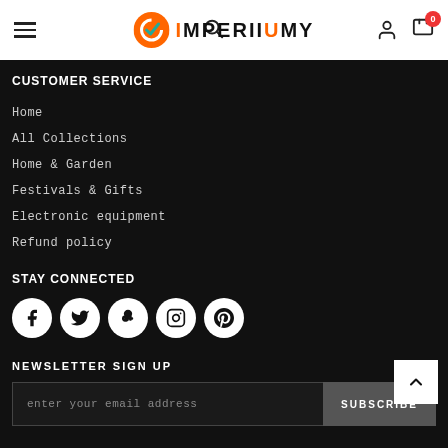IMPERIIMY — navigation header with hamburger menu, search, logo, user icon, and cart (0)
CUSTOMER SERVICE
Home
All Collections
Home & Garden
Festivals & Gifts
Electronic equipment
Refund policy
STAY CONNECTED
[Figure (other): Social media icon buttons: Facebook, Twitter, Google+, Instagram, Pinterest — white circles on dark background]
NEWSLETTER SIGN UP
enter your email address | SUBSCRIBE